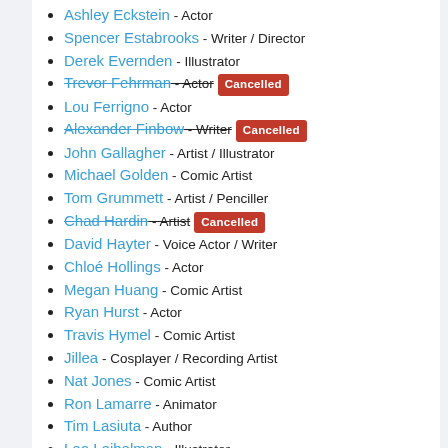Ashley Eckstein - Actor
Spencer Estabrooks - Writer / Director
Derek Evernden - Illustrator
Trevor Fehrman - Actor [Cancelled]
Lou Ferrigno - Actor
Alexander Finbow - Writer [Cancelled]
John Gallagher - Artist / Illustrator
Michael Golden - Comic Artist
Tom Grummett - Artist / Penciller
Chad Hardin - Artist [Cancelled]
David Hayter - Voice Actor / Writer
Chloé Hollings - Actor
Megan Huang - Comic Artist
Ryan Hurst - Actor
Travis Hymel - Comic Artist
Jillea - Cosplayer / Recording Artist
Nat Jones - Comic Artist
Ron Lamarre - Animator
Tim Lasiuta - Author
Leo Leibelman - Illustrator
Matthew Lewis - Actor [Cancelled]
LuckyGrim - Cosplayer
Jeff Martin - Comic Creator